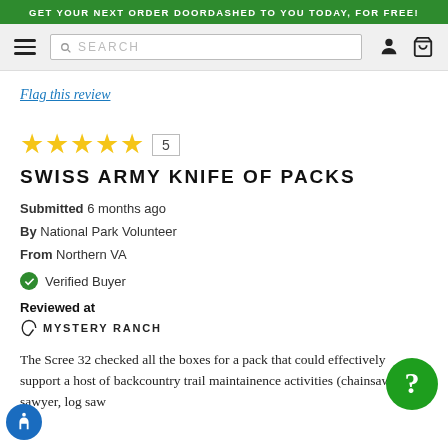GET YOUR NEXT ORDER DOORDASHED TO YOU TODAY, FOR FREE!
[Figure (screenshot): Navigation bar with hamburger menu, search bar, user icon, and cart icon]
Flag this review
★★★★★ 5
SWISS ARMY KNIFE OF PACKS
Submitted 6 months ago
By National Park Volunteer
From Northern VA
✓ Verified Buyer
Reviewed at
[Figure (logo): Mystery Ranch logo]
The Scree 32 checked all the boxes for a pack that could effectively support a host of backcountry trail maintainence activities (chainsaw sawyer, log saw